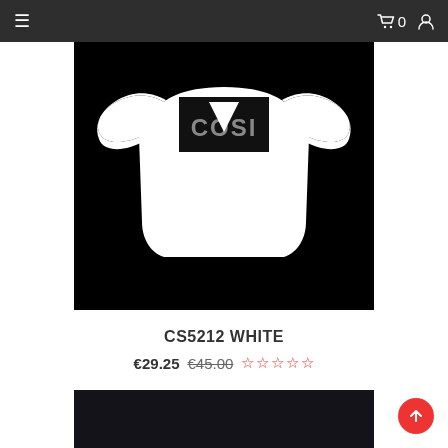☰  🛒 0  👤
[Figure (photo): White t-shirt with black square panel on chest displaying 'COSI' text in grey letters, photographed on dark/black background]
CS5212 WHITE
€29.25  €45.00  ☆☆☆☆☆
[Figure (photo): Bottom portion of a dark navy/black product image, partially visible]